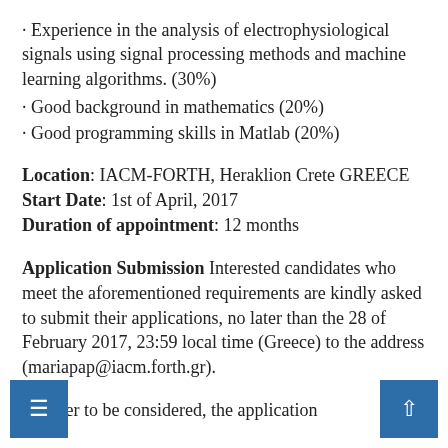· Experience in the analysis of electrophysiological signals using signal processing methods and machine learning algorithms. (30%)
· Good background in mathematics (20%)
· Good programming skills in Matlab (20%)
Location: IACM-FORTH, Heraklion Crete GREECE
Start Date: 1st of April, 2017
Duration of appointment: 12 months
Application Submission Interested candidates who meet the aforementioned requirements are kindly asked to submit their applications, no later than the 28 of February 2017, 23:59 local time (Greece) to the address (mariapap@iacm.forth.gr).
In order to be considered, the application